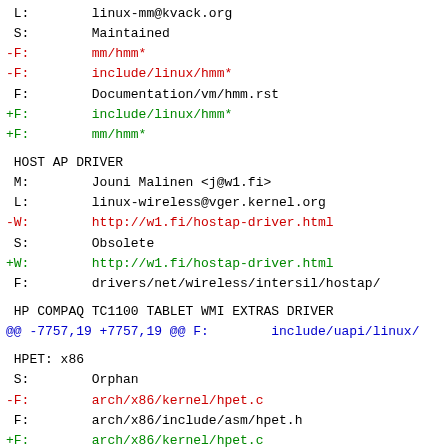L:        linux-mm@kvack.org
 S:        Maintained
-F:        mm/hmm*
-F:        include/linux/hmm*
 F:        Documentation/vm/hmm.rst
+F:        include/linux/hmm*
+F:        mm/hmm*
HOST AP DRIVER
M:        Jouni Malinen <j@w1.fi>
 L:        linux-wireless@vger.kernel.org
-W:        http://w1.fi/hostap-driver.html
 S:        Obsolete
+W:        http://w1.fi/hostap-driver.html
 F:        drivers/net/wireless/intersil/hostap/
HP COMPAQ TC1100 TABLET WMI EXTRAS DRIVER
@@ -7757,19 +7757,19 @@ F:        include/uapi/linux/
HPET: x86
 S:        Orphan
-F:        arch/x86/kernel/hpet.c
 F:        arch/x86/include/asm/hpet.h
+F:        arch/x86/kernel/hpet.c
HPFS FILESYSTEM
M:        Mikulas Patocka <mikulas@artax.karlin.mff.c
-W:        http://artax.karlin.mff.cuni.cz/~mikulas/vy
 S:        Maintained
+W:        http://artax.karlin.mff.cuni.cz/~mikulas/vy